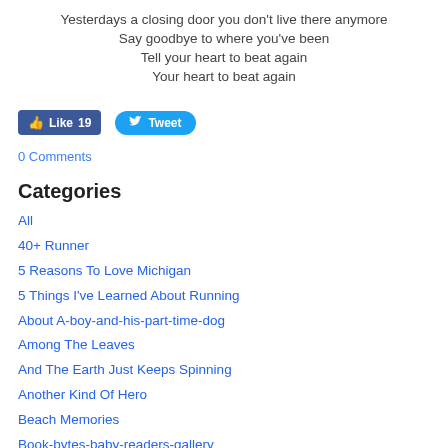Yesterdays a closing door you don't live there anymore
Say goodbye to where you've been
Tell your heart to beat again
Your heart to beat again
[Figure (other): Facebook Like button showing 19 likes and Twitter Tweet button]
0 Comments
Categories
All
40+ Runner
5 Reasons To Love Michigan
5 Things I've Learned About Running
About A-boy-and-his-part-time-dog
Among The Leaves
And The Earth Just Keeps Spinning
Another Kind Of Hero
Beach Memories
Book-bytes-baby-readers-gallery